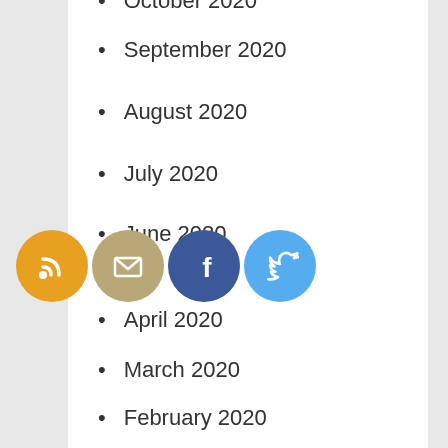September 2020
August 2020
July 2020
June 2020
[Figure (illustration): Four social media icon circles: RSS (orange), Email (tan/beige), Facebook (dark blue), Twitter (light blue)]
April 2020
March 2020
February 2020
January 2020
December 2019
November 2019